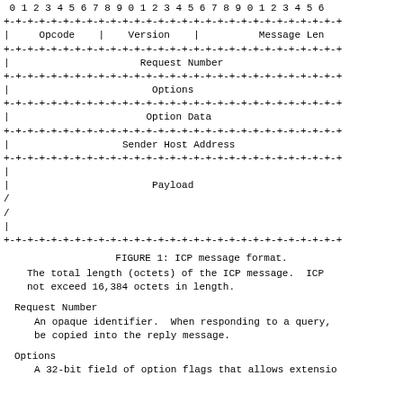[Figure (schematic): ASCII diagram of ICP message format showing fields: Opcode, Version, Message Length, Request Number, Options, Option Data, Sender Host Address, Payload with bit numbering 0-35+ across the top]
FIGURE 1: ICP message format.
The total length (octets) of the ICP message.  ICP not exceed 16,384 octets in length.
Request Number
   An opaque identifier.  When responding to a query, be copied into the reply message.
Options
   A 32-bit field of option flags that allows extensio